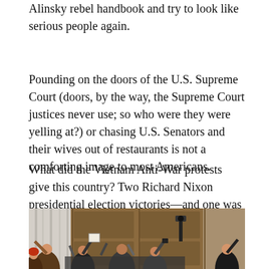Alinsky rebel handbook and try to look like serious people again.
Pounding on the doors of the U.S. Supreme Court (doors, by the way, the Supreme Court justices never use; so who were they were yelling at?) or chasing U.S. Senators and their wives out of restaurants is not a comforting image to most Americans.
What did the Vietnam Anti-War protests give this country? Two Richard Nixon presidential election victories—and one was a landslide.
[Figure (photo): Photo of protesters inside what appears to be the U.S. Supreme Court building, people raising fists and signs, with large wooden doors in the background]